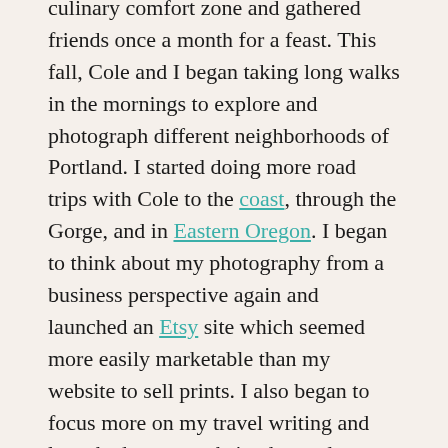culinary comfort zone and gathered friends once a month for a feast. This fall, Cole and I began taking long walks in the mornings to explore and photograph different neighborhoods of Portland. I started doing more road trips with Cole to the coast, through the Gorge, and in Eastern Oregon. I began to think about my photography from a business perspective again and launched an Etsy site which seemed more easily marketable than my website to sell prints. I also began to focus more on my travel writing and launched a new website devoted to traveling in Oregon, Almost-Solo Nature Junkie. To help promote it, I created an Instagram account for Cole and started to get more active on Twitter.
Most recently, I came to the conclusion that I needed to make another big change in my life. In